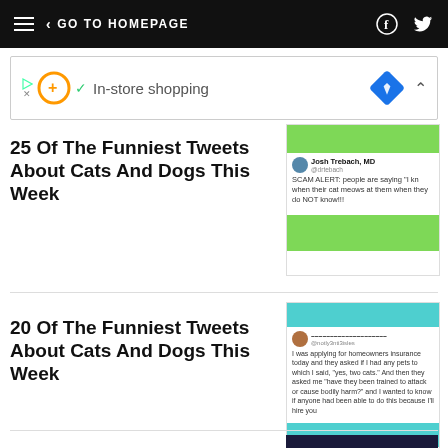< GO TO HOMEPAGE
[Figure (screenshot): Advertisement banner: In-store shopping ad with orange circle icon, green checkmark, blue diamond navigation icon]
25 Of The Funniest Tweets About Cats And Dogs This Week
[Figure (screenshot): Tweet card from Josh Trebach, MD (@drtebach): SCAM ALERT: people are saying 'I know what their cat meows at them when they do NOT know!!!']
20 Of The Funniest Tweets About Cats And Dogs This Week
[Figure (screenshot): Tweet card: I was applying for homeowners insurance today and they asked if I had any pets to which I said, 'yes, two cats.' And then they asked me 'have they been trained to attack or cause bodily harm?' and I wanted to know if anyone had been able to do this because I'll hire you]
[Figure (photo): Dark blue/night photo thumbnail at bottom of page]